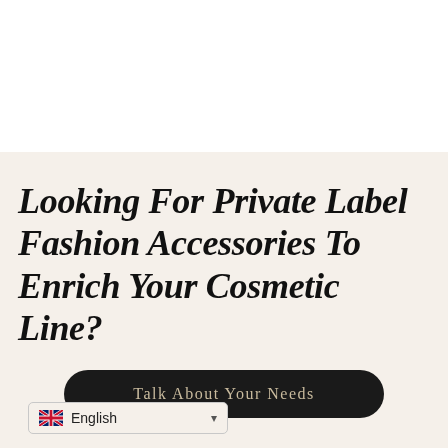[Figure (photo): White/light area at top of page, appears to be an image section (cropped product or background photo)]
Looking For Private Label Fashion Accessories To Enrich Your Cosmetic Line?
Talk About Your Needs
English